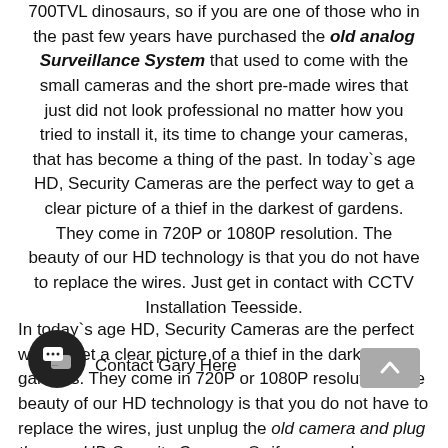700TVL dinosaurs, so if you are one of those who in the past few years have purchased the old analog Surveillance System that used to come with the small cameras and the short pre-made wires that just did not look professional no matter how you tried to install it, its time to change your cameras, that has become a thing of the past. In today`s age HD, Security Cameras are the perfect way to get a clear picture of a thief in the darkest of gardens. They come in 720P or 1080P resolution. The beauty of our HD technology is that you do not have to replace the wires. Just get in contact with CCTV Installation Teesside.
In today`s age HD, Security Cameras are the perfect way to get a clear picture of a thief in the darkest of gardens. They come in 720P or 1080P resolution. The beauty of our HD technology is that you do not have to replace the wires, just unplug the old camera and plug the new HD Security Camera. Or if you need something